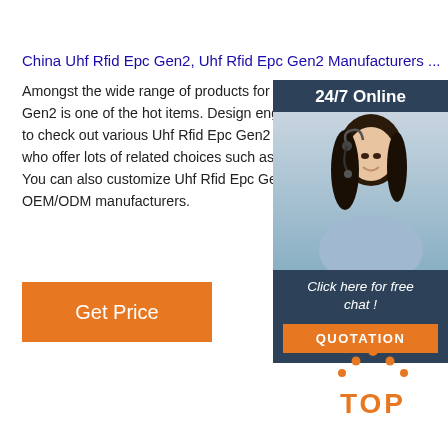China Uhf Rfid Epc Gen2, Uhf Rfid Epc Gen2 Manufacturers ...
Amongst the wide range of products for sale choices, Uhf Rfid Epc Gen2 is one of the hot items. Design engineers or buyers to check out various Uhf Rfid Epc Gen2 factory & manufacturers, who offer lots of related choices such as rfid tag, tag. You can also customize Uhf Rfid Epc Gen2 orders from our OEM/ODM manufacturers.
[Figure (illustration): Orange 'Get Price' button]
[Figure (illustration): 24/7 Online chat widget with woman wearing headset, 'Click here for free chat!' text, and orange QUOTATION button]
[Figure (logo): Orange TOP button/logo with dots above text]